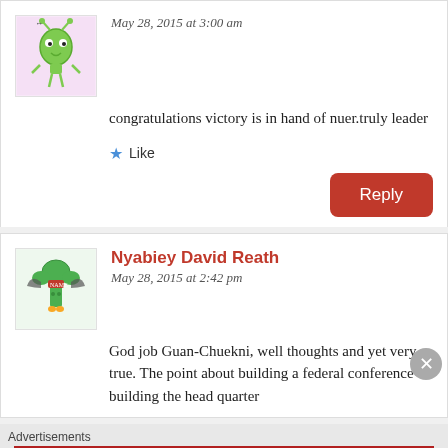May 28, 2015 at 3:00 am
congratulations victory is in hand of nuer.truly leader
Like
Reply
Nyabiey David Reath
May 28, 2015 at 2:42 pm
God job Guan-Chuekni, well thoughts and yet very true. The point about building a federal conference building the head quarter
Advertisements
[Figure (logo): Longreads logo and advertisement banner: The best stories on the web – ours, and everyone else's.]